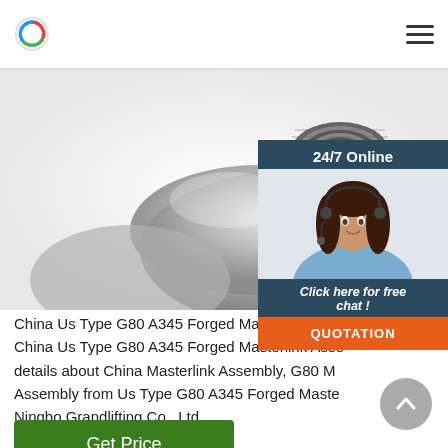logo and navigation menu
[Figure (photo): Close-up photo of a stainless steel forged masterlink assembly component, showing threaded hole and forged body on white background]
[Figure (photo): 24/7 Online chat overlay with customer service representative photo, 'Click here for free chat!' text, and QUOTATION button]
China Us Type G80 A345 Forged Masterlink Asse China Us Type G80 A345 Forged Masterlink Asse details about China Masterlink Assembly, G80 M Assembly from Us Type G80 A345 Forged Maste Ningbo Grandlifting Co., Ltd.
Get Price